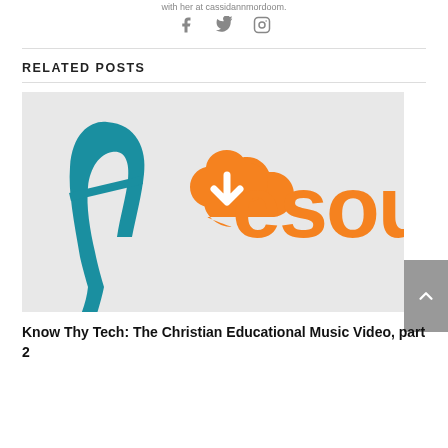with her at cassidannmordoom.
[Figure (illustration): Social media icons: Facebook, Twitter, Instagram]
RELATED POSTS
[Figure (logo): Hresources logo - teal cursive h letter with orange cloud download icon and orange text 'esou' (partial)]
Know Thy Tech: The Christian Educational Music Video, part 2